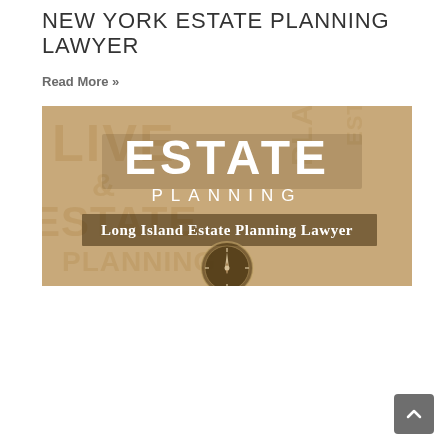NEW YORK ESTATE PLANNING LAWYER
Read More »
[Figure (photo): Sepia-toned promotional image with large text 'ESTATE PLANNING' and subtitle 'Long Island Estate Planning Lawyer', featuring a compass in the lower portion against a background of legal document text.]